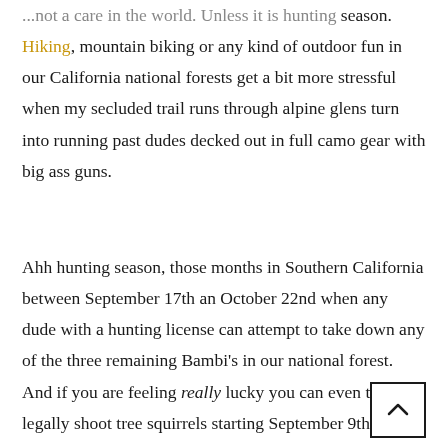... not a care in the world. Unless it is hunting season. Hiking, mountain biking or any kind of outdoor fun in our California national forests get a bit more stressful when my secluded trail runs through alpine glens turn into running past dudes decked out in full camo gear with big ass guns.
Ahh hunting season, those months in Southern California between September 17th an October 22nd when any dude with a hunting license can attempt to take down any of the three remaining Bambi's in our national forest. And if you are feeling really lucky you can even try to legally shoot tree squirrels starting September 9th!